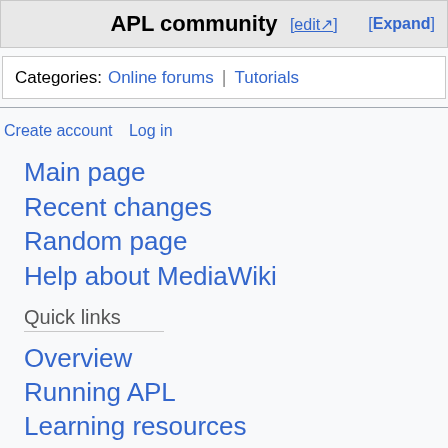APL community [edit] [Expand]
Categories: Online forums | Tutorials
Create account  Log in
Main page
Recent changes
Random page
Help about MediaWiki
Quick links
Overview
Running APL
Learning resources
Chat rooms and forums